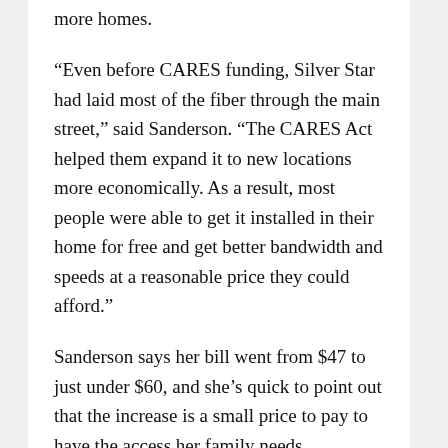more homes.
“Even before CARES funding, Silver Star had laid most of the fiber through the main street,” said Sanderson. “The CARES Act helped them expand it to new locations more economically. As a result, most people were able to get it installed in their home for free and get better bandwidth and speeds at a reasonable price they could afford.”
Sanderson says her bill went from $47 to just under $60, and she’s quick to point out that the increase is a small price to pay to have the access her family needs.
“We can work from home and have the kids at